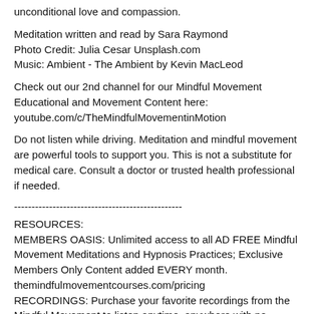unconditional love and compassion.
Meditation written and read by Sara Raymond
Photo Credit: Julia Cesar Unsplash.com
Music: Ambient - The Ambient by Kevin MacLeod
Check out our 2nd channel for our Mindful Movement Educational and Movement Content here: youtube.com/c/TheMindfulMovementinMotion
Do not listen while driving. Meditation and mindful movement are powerful tools to support you. This is not a substitute for medical care. Consult a doctor or trusted health professional if needed.
------------------------------------------------
RESOURCES:
MEMBERS OASIS: Unlimited access to all AD FREE Mindful Movement Meditations and Hypnosis Practices; Exclusive Members Only Content added EVERY month.
themindfulmovementcourses.com/pricing
RECORDINGS: Purchase your favorite recordings from the Mindful Movement to listen anytime, anywhere with no internet access necessary.
themindfulmovement.com/recordings-store/